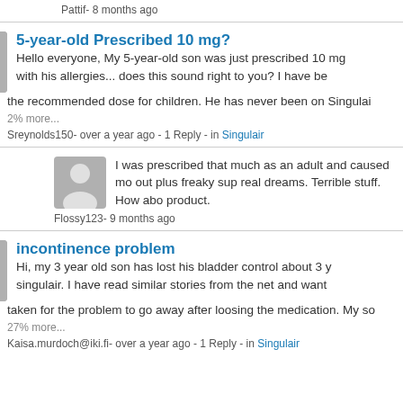Pattif- 8 months ago
5-year-old Prescribed 10 mg?
Hello everyone, My 5-year-old son was just prescribed 10 mg with his allergies... does this sound right to you? I have been told the recommended dose for children. He has never been on Singulair...
2% more...
Sreynolds150- over a year ago - 1 Reply - in Singulair
I was prescribed that much as an adult and caused me out plus freaky sup real dreams. Terrible stuff. How about product.
Flossy123- 9 months ago
incontinence problem
Hi, my 3 year old son has lost his bladder control about 3 weeks after starting singulair. I have read similar stories from the net and want to know how long it taken for the problem to go away after loosing the medication. My son...
27% more...
Kaisa.murdoch@iki.fi- over a year ago - 1 Reply - in Singulair